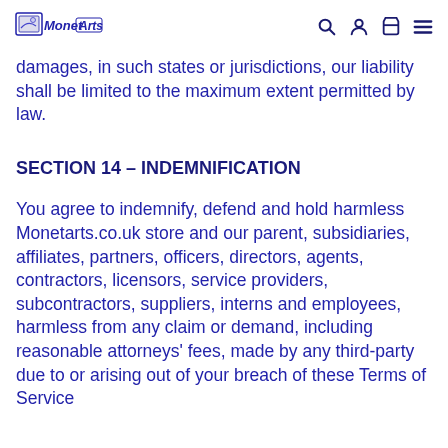MonetArts [logo with navigation icons: search, account, cart, menu]
damages, in such states or jurisdictions, our liability shall be limited to the maximum extent permitted by law.
SECTION 14 – INDEMNIFICATION
You agree to indemnify, defend and hold harmless Monetarts.co.uk store and our parent, subsidiaries, affiliates, partners, officers, directors, agents, contractors, licensors, service providers, subcontractors, suppliers, interns and employees, harmless from any claim or demand, including reasonable attorneys' fees, made by any third-party due to or arising out of your breach of these Terms of Service